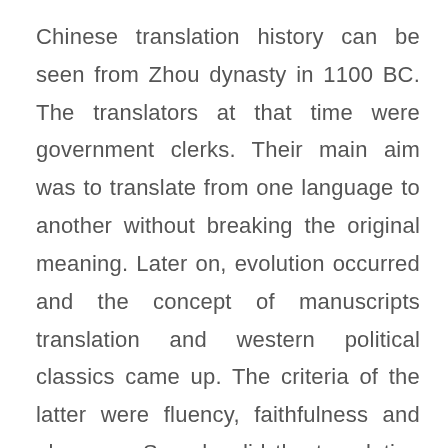Chinese translation history can be seen from Zhou dynasty in 1100 BC. The translators at that time were government clerks. Their main aim was to translate from one language to another without breaking the original meaning. Later on, evolution occurred and the concept of manuscripts translation and western political classics came up. The criteria of the latter were fluency, faithfulness and elegance. So, why did the translation turned 360 degree and produced poor results?